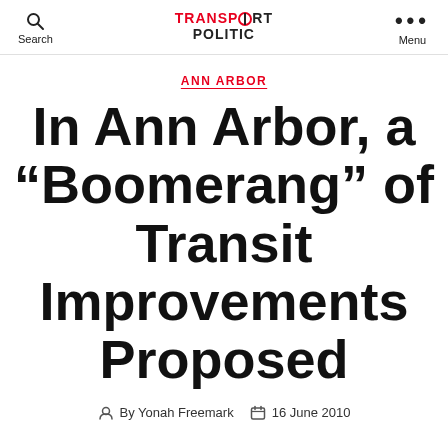Search | TRANSPORT POLITIC | Menu
ANN ARBOR
In Ann Arbor, a “Boomerang” of Transit Improvements Proposed
By Yonah Freemark  16 June 2010